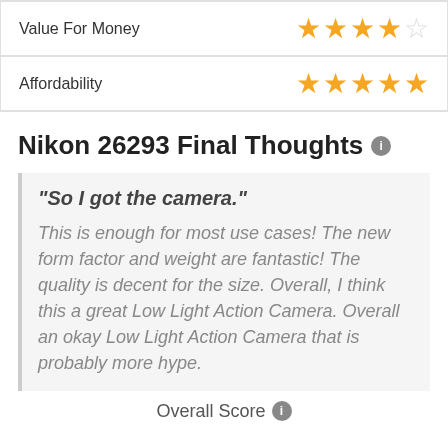| Category | Rating |
| --- | --- |
| Value For Money | ★★★★☆ |
| Affordability | ★★★★★ |
Nikon 26293 Final Thoughts
"So I got the camera." This is enough for most use cases! The new form factor and weight are fantastic! The quality is decent for the size. Overall, I think this a great Low Light Action Camera. Overall an okay Low Light Action Camera that is probably more hype.
Overall Score